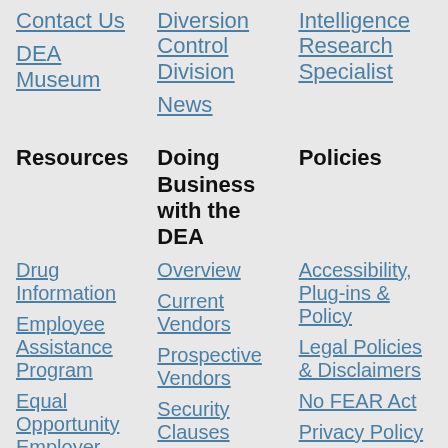Contact Us
DEA Museum
Diversion Control Division
News
Intelligence Research Specialist
Resources
Doing Business with the DEA
Policies
Drug Information
Employee Assistance Program
Equal Opportunity Employer
FOIA
Publications
Media Gallery
Overview
Current Vendors
Prospective Vendors
Security Clauses
Security Forms
Small Business
Accessibility, Plug-ins & Policy
Legal Policies & Disclaimers
No FEAR Act
Privacy Policy
U.S. Department of Justice EEO Policy